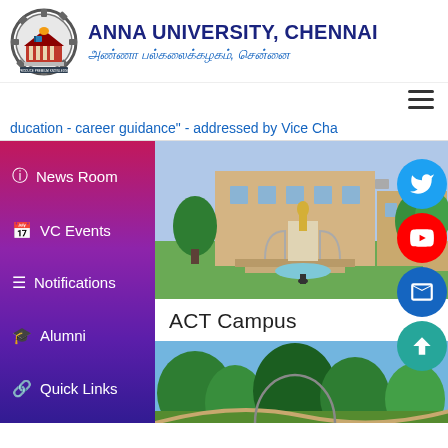[Figure (logo): Anna University circular gear/temple logo]
ANNA UNIVERSITY, CHENNAI
அண்ணா பல்கலைக்கழகம், சென்னை
≡ (hamburger menu icon)
ducation - career guidance" - addressed by Vice Cha
ℹ News Room
🗓 VC Events
≡ Notifications
🎓 Alumni
🔗 Quick Links
[Figure (photo): Anna University ACT Campus building with statue]
ACT Campus
[Figure (photo): Anna University campus trees and grounds]